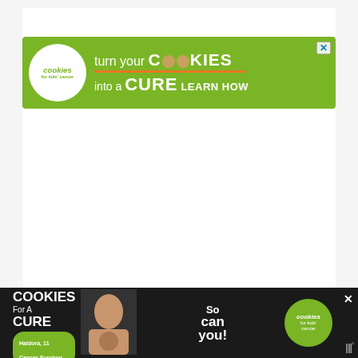[Figure (illustration): Green banner advertisement: 'Cookies for Kids' Cancer — turn your COOKIES into a CURE LEARN HOW' with close button]
[Figure (logo): Small watermark/wordmark symbol in gray, resembling stylized 'W' with degree symbol]
This is one of my favorite sites and although one of the feel h... of fresh
[Figure (illustration): Dark bottom banner advertisement: 'I Bake COOKIES For A CURE' with photo of Haldora, 11 Cancer Survivor, 'So can you!' text, Cookies for Kids Cancer logo, close button]